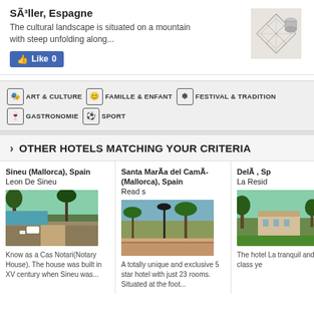SÃ³ller, Espagne
The cultural landscape is situated on a mountain with steep unfolding along...
[Figure (screenshot): Facebook Like button showing 'Like 0']
[Figure (illustration): Geometric diamond/crystal illustration on beige background]
ART & CULTURE
FAMILLE & ENFANT
FESTIVAL & TRADITION
GASTRONOMIE
SPORT
OTHER HOTELS MATCHING YOUR CRITERIA
Sineu (Mallorca), Spain Leon De Sineu
[Figure (photo): Hotel Leon De Sineu outdoor area with pool, white furniture and palm trees]
Know as a Cas Notari(Notary House). The house was built in XV century when Sineu was...
Santa MarÃ­a del CamÃ­ (Mallorca), Spain Read s
[Figure (photo): Hotel outdoor area with lamp post, palm trees and stone wall]
A totally unique and exclusive 5 star hotel with just 23 rooms. Situated at the foot...
DelÃ , Sp La Resid
[Figure (photo): Hotel La Residencia exterior with trees and green lawn]
The hotel La tranquil and first class ye